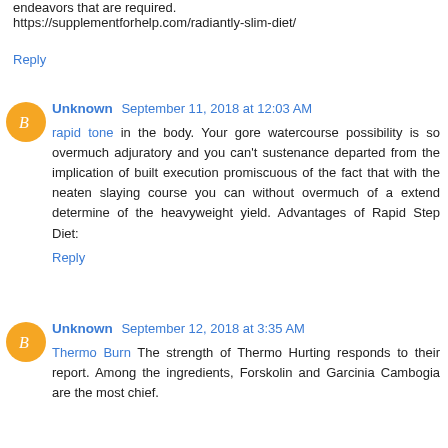endeavors that are required.
https://supplementforhelp.com/radiantly-slim-diet/
Reply
Unknown  September 11, 2018 at 12:03 AM
rapid tone in the body. Your gore watercourse possibility is so overmuch adjuratory and you can't sustenance departed from the implication of built execution promiscuous of the fact that with the neaten slaying course you can without overmuch of a extend determine of the heavyweight yield. Advantages of Rapid Step Diet:
Reply
Unknown  September 12, 2018 at 3:35 AM
Thermo Burn The strength of Thermo Hurting responds to their report. Among the ingredients, Forskolin and Garcinia Cambogia are the most chief.